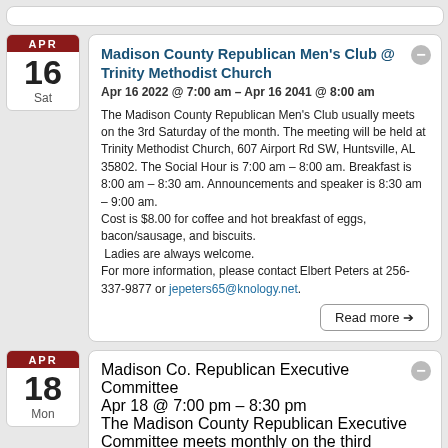Madison County Republican Men's Club @ Trinity Methodist Church
Apr 16 2022 @ 7:00 am – Apr 16 2041 @ 8:00 am
The Madison County Republican Men's Club usually meets on the 3rd Saturday of the month. The meeting will be held at Trinity Methodist Church, 607 Airport Rd SW, Huntsville, AL 35802. The Social Hour is 7:00 am – 8:00 am. Breakfast is 8:00 am – 8:30 am. Announcements and speaker is 8:30 am – 9:00 am.
Cost is $8.00 for coffee and hot breakfast of eggs, bacon/sausage, and biscuits.
 Ladies are always welcome.
For more information, please contact Elbert Peters at 256-337-9877 or jepeters65@knology.net.
Madison Co. Republican Executive Committee
Apr 18 @ 7:00 pm – 8:30 pm
The Madison County Republican Executive Committee meets monthly on the third Monday. The meeting is called to order